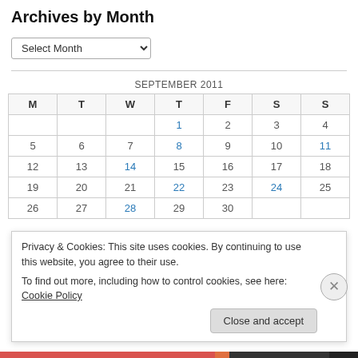Archives by Month
Select Month
| M | T | W | T | F | S | S |
| --- | --- | --- | --- | --- | --- | --- |
|  |  |  | 1 | 2 | 3 | 4 |
| 5 | 6 | 7 | 8 | 9 | 10 | 11 |
| 12 | 13 | 14 | 15 | 16 | 17 | 18 |
| 19 | 20 | 21 | 22 | 23 | 24 | 25 |
| 26 | 27 | 28 | 29 | 30 |  |  |
Privacy & Cookies: This site uses cookies. By continuing to use this website, you agree to their use.
To find out more, including how to control cookies, see here: Cookie Policy